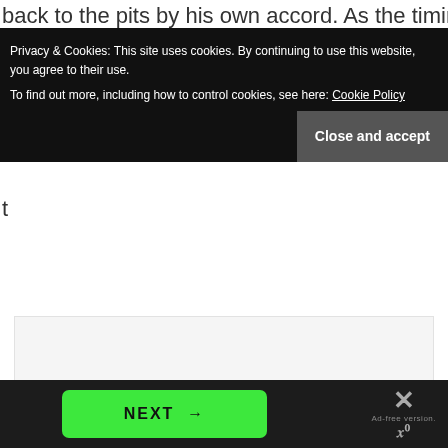back to the pits by his own accord. As the timing
s
t
Privacy & Cookies: This site uses cookies. By continuing to use this website, you agree to their use. To find out more, including how to control cookies, see here: Cookie Policy
Close and accept
[Figure (screenshot): Light gray empty content area / advertisement placeholder]
NEXT →
Ad-free version. WP°